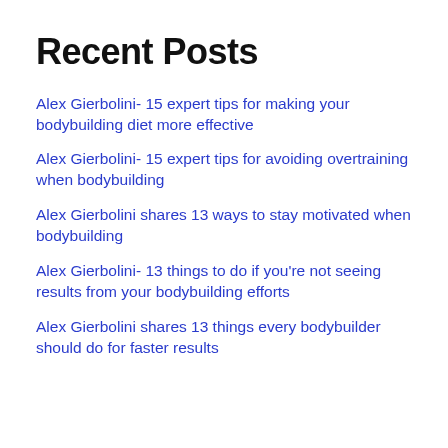Recent Posts
Alex Gierbolini- 15 expert tips for making your bodybuilding diet more effective
Alex Gierbolini- 15 expert tips for avoiding overtraining when bodybuilding
Alex Gierbolini shares 13 ways to stay motivated when bodybuilding
Alex Gierbolini- 13 things to do if you're not seeing results from your bodybuilding efforts
Alex Gierbolini shares 13 things every bodybuilder should do for faster results